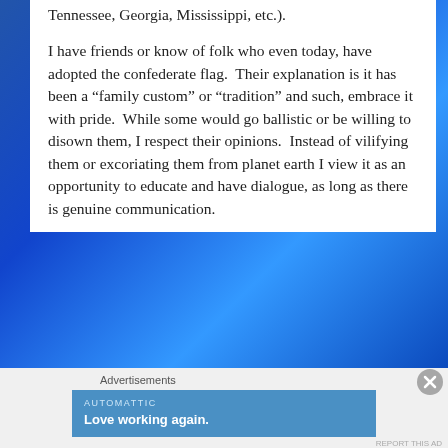Tennessee, Georgia, Mississippi, etc.).
I have friends or know of folk who even today, have adopted the confederate flag.  Their explanation is it has been a “family custom” or “tradition” and such, embrace it with pride.  While some would go ballistic or be willing to disown them, I respect their opinions.  Instead of vilifying them or excoriating them from planet earth I view it as an opportunity to educate and have dialogue, as long as there is genuine communication.
Advertisements
[Figure (other): Automattic advertisement banner with text 'Love working again.']